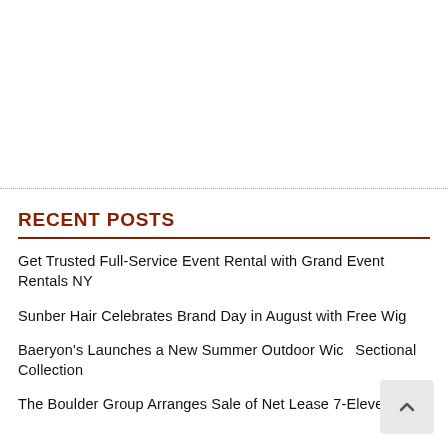RECENT POSTS
Get Trusted Full-Service Event Rental with Grand Event Rentals NY
Sunber Hair Celebrates Brand Day in August with Free Wig
Baeryon's Launches a New Summer Outdoor Wick Sectional Collection
The Boulder Group Arranges Sale of Net Lease 7-Eleven